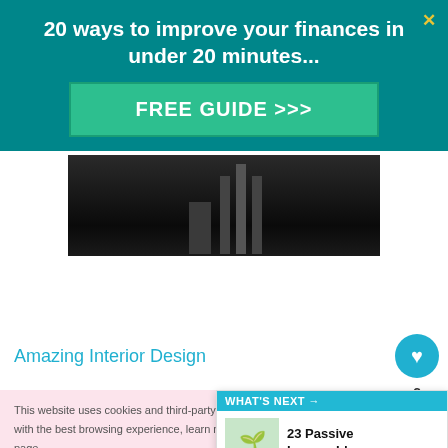20 ways to improve your finances in under 20 minutes...
FREE GUIDE >>>
[Figure (photo): Dark interior photo showing a room with dark flooring and furniture]
Amazing Interior Design
This loft bed idea combines sleep and
This website uses cookies and third-party services to provide you with the best browsing experience, learn more on the disclaimer page.
WHAT'S NEXT → 23 Passive Income Idea...
OK